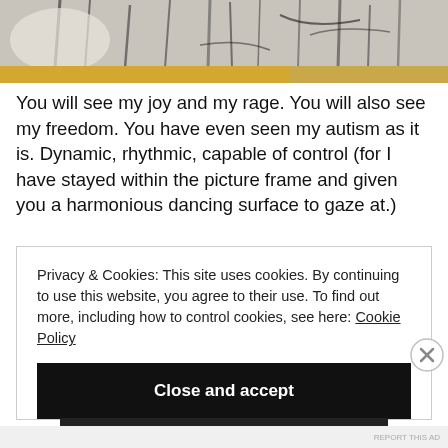[Figure (illustration): Abstract artwork showing dark brushstroke marks on light background with a golden/yellow horizontal band near the bottom of the image]
You will see my joy and my rage. You will also see my freedom. You have even seen my autism as it is. Dynamic, rhythmic, capable of control (for I have stayed within the picture frame and given you a harmonious dancing surface to gaze at.)
Privacy & Cookies: This site uses cookies. By continuing to use this website, you agree to their use. To find out more, including how to control cookies, see here: Cookie Policy
Close and accept